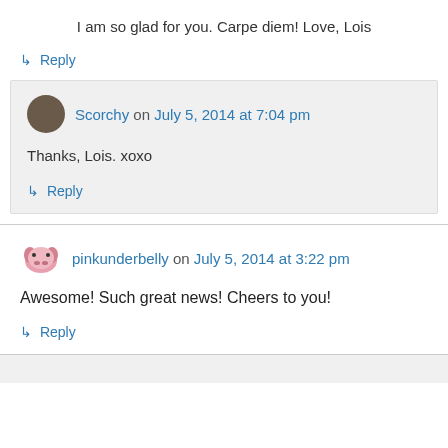I am so glad for you. Carpe diem! Love, Lois
↳ Reply
Scorchy on July 5, 2014 at 7:04 pm
Thanks, Lois. xoxo
↳ Reply
pinkunderbelly on July 5, 2014 at 3:22 pm
Awesome! Such great news! Cheers to you!
↳ Reply